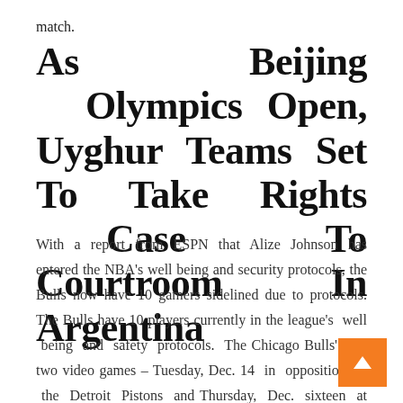match.
As Beijing Olympics Open, Uyghur Teams Set To Take Rights Case To Courtroom In Argentina
With a report from ESPN that Alize Johnson has entered the NBA's well being and security protocols, the Bulls now have 10 gamers sidelined due to protocols. The Bulls have 10 players currently in the league's well being and safety protocols. The Chicago Bulls' next two video games – Tuesday, Dec. 14 in opposition to the Detroit Pistons and Thursday, Dec. sixteen at Toronto – have been postponed, the NBA introduced. Ten Bulls players,